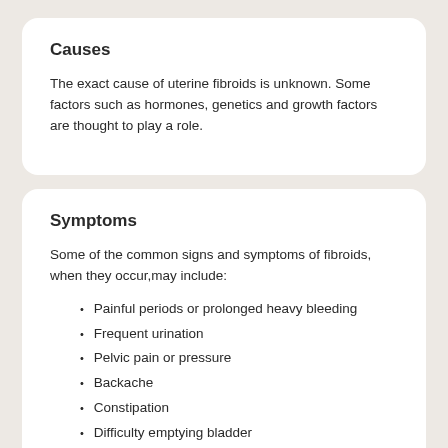Causes
The exact cause of uterine fibroids is unknown. Some factors such as hormones, genetics and growth factors are thought to play a role.
Symptoms
Some of the common signs and symptoms of fibroids, when they occur,may include:
Painful periods or prolonged heavy bleeding
Frequent urination
Pelvic pain or pressure
Backache
Constipation
Difficulty emptying bladder